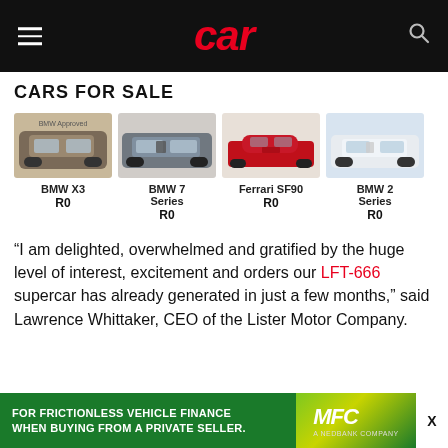car
CARS FOR SALE
[Figure (photo): BMW X3 SUV in grey at a dealership]
BMW X3
R0
[Figure (photo): BMW 7 Series sedan in grey at a showroom]
BMW 7 Series
R0
[Figure (photo): Ferrari SF90 in red on a showroom floor]
Ferrari SF90
R0
[Figure (photo): BMW 2 Series in white at a dealership]
BMW 2 Series
R0
“I am delighted, overwhelmed and gratified by the huge level of interest, excitement and orders our LFT-666 supercar has already generated in just a few months,” said Lawrence Whittaker, CEO of the Lister Motor Company.
[Figure (infographic): MFC advertisement banner: FOR FRICTIONLESS VEHICLE FINANCE WHEN BUYING FROM A PRIVATE SELLER.]